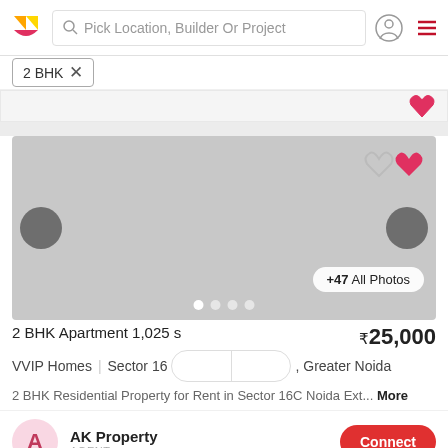[Figure (screenshot): App header with logo, search bar reading 'Pick Location, Builder Or Project', user icon, and hamburger menu]
2 BHK ×
[Figure (screenshot): Partial top of a listing card with a red heart/favorite button visible]
[Figure (photo): Property image carousel showing a grey placeholder with left/right navigation arrows, heart overlay icons, +47 All Photos button, and 4 dot indicators]
2 BHK Apartment 1,025 s
₹25,000
VVIP Homes  |  Sector 16  , Greater Noida
2 BHK Residential Property for Rent in Sector 16C Noida Ext...  More
AK Property
AGENT
Connect